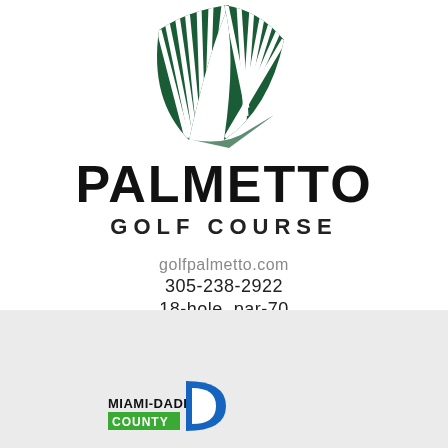[Figure (logo): Palmetto Golf Course palm leaf logo — green striped palm frond illustration]
PALMETTO
GOLF COURSE
golfpalmetto.com
305-238-2922
18-hole, par-70
[Figure (logo): Miami-Dade County logo with blue D shape and green COUNTY text]